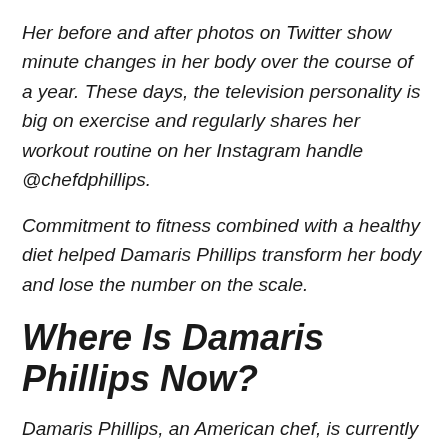Her before and after photos on Twitter show minute changes in her body over the course of a year. These days, the television personality is big on exercise and regularly shares her workout routine on her Instagram handle @chefdphillips.
Commitment to fitness combined with a healthy diet helped Damaris Phillips transform her body and lose the number on the scale.
Where Is Damaris Phillips Now?
Damaris Phillips, an American chef, is currently in Louisville, Kentucky, with her husband, Darrick